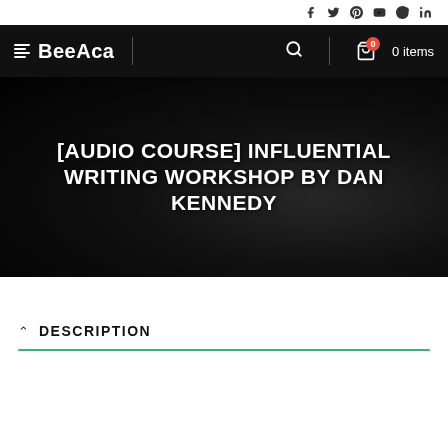Social icons: facebook, twitter, pinterest, youtube, skype, linkedin
[Figure (logo): BeeAca logo with menu icon, search icon, and cart showing 0 items]
[AUDIO COURSE] INFLUENTIAL WRITING WORKSHOP BY DAN KENNEDY
DESCRIPTION